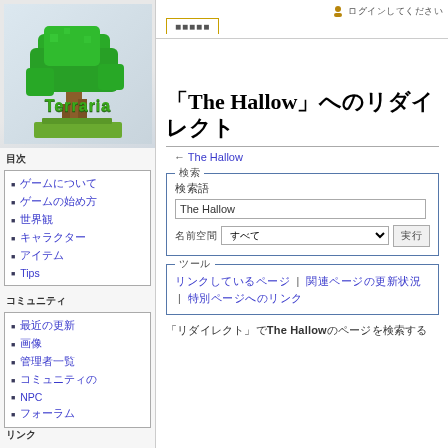[Figure (logo): Terraria game logo with pixelated tree and 'Terraria' text on gradient background]
目次
ゲームについて
ゲームの始め方
世界観
キャラクター
アイテム
Tips
コミュニティ
最近の更新
画像
管理者一覧
コミュニティの
NPC
フォーラム
リンク
ログインしてください
「The Hallow」へのリダイレクト
← The Hallow
検索
検索語
The Hallow
名前空間  すべて  ▼  実行
ツール
リンクしているページ | 関連ページの更新状況 | 特別ページへのリンク
「リダイレクト」でThe Hallowのページを検索する